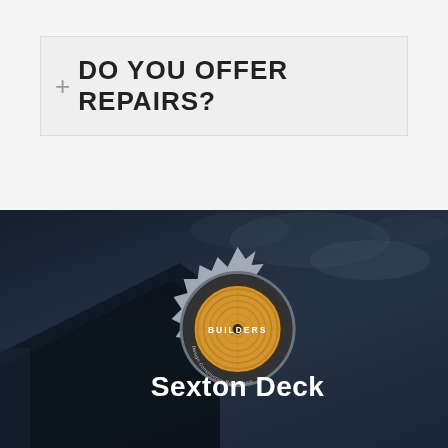DO YOU OFFER REPAIRS?
[Figure (logo): Sexton Deck Builders logo — circular saw blade design with wood grain center, text 'Sexton Deck Builders' and 'Design-Construction-Restoration' on background photo of dark sky and deck roofing]